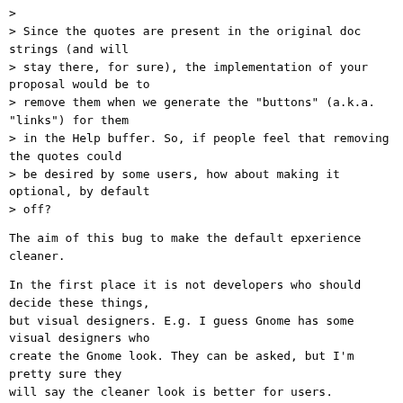>
> Since the quotes are present in the original doc strings (and will
> stay there, for sure), the implementation of your proposal would be to
> remove them when we generate the "buttons" (a.k.a. "links") for them
> in the Help buffer. So, if people feel that removing the quotes could
> be desired by some users, how about making it optional, by default
> off?
The aim of this bug to make the default epxerience cleaner.
In the first place it is not developers who should decide these things,
but visual designers. E.g. I guess Gnome has some visual designers who
create the Gnome look. They can be asked, but I'm pretty sure they
will say the cleaner look is better for users.